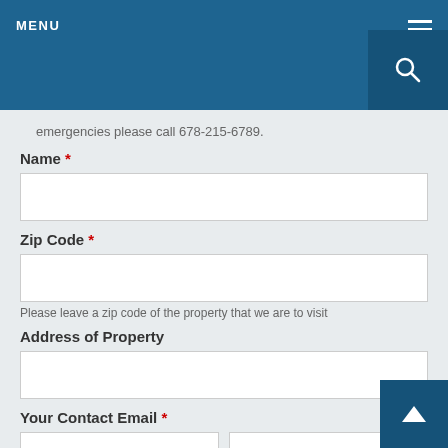MENU
emergencies please call 678-215-6789.
Name *
Zip Code *
Please leave a zip code of the property that we are to visit
Address of Property
Your Contact Email *